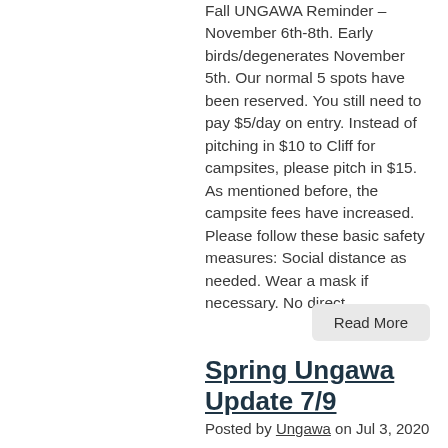Fall UNGAWA Reminder – November 6th-8th. Early birds/degenerates November 5th. Our normal 5 spots have been reserved. You still need to pay $5/day on entry. Instead of pitching in $10 to Cliff for campsites, please pitch in $15. As mentioned before, the campsite fees have increased. Please follow these basic safety measures: Social distance as needed. Wear a mask if necessary. No direct…
Read More
Spring Ungawa Update 7/9
Posted by Ungawa on Jul 3, 2020